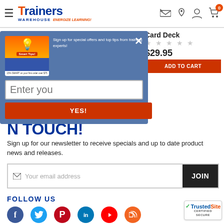[Figure (screenshot): Trainers Warehouse website header with logo, hamburger menu, and icons for email, phone, account, and cart (showing 0 items)]
Card Deck
$29.95
ADD TO CART
[Figure (infographic): Email signup popup modal with Smart Tips image, text 'Sign up for special offers and top tips from training experts!', email input field, and YES! button]
N TOUCH!
Sign up for our newsletter to receive specials and up to date product news and releases.
Your email address
JOIN
FOLLOW US
[Figure (logo): TrustedSite CERTIFIED SECURE badge]
[Figure (infographic): Social media icons: Facebook, Twitter, Pinterest, LinkedIn, YouTube, RSS]